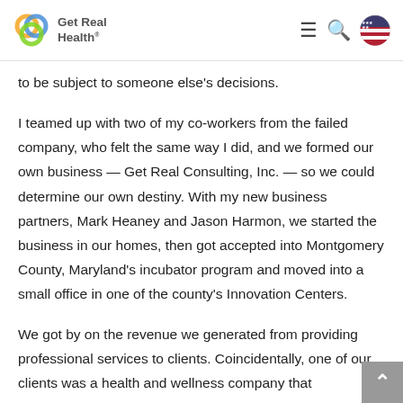Get Real Health
to be subject to someone else’s decisions.
I teamed up with two of my co-workers from the failed company, who felt the same way I did, and we formed our own business — Get Real Consulting, Inc. — so we could determine our own destiny. With my new business partners, Mark Heaney and Jason Harmon, we started the business in our homes, then got accepted into Montgomery County, Maryland’s incubator program and moved into a small office in one of the county’s Innovation Centers.
We got by on the revenue we generated from providing professional services to clients. Coincidentally, one of our clients was a health and wellness company that